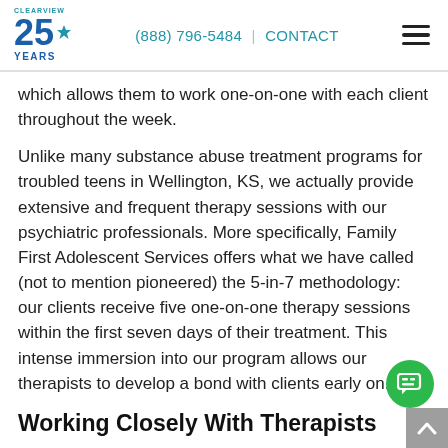CLEARVIEW 25 YEARS | (888) 796-5484 | CONTACT
which allows them to work one-on-one with each client throughout the week.
Unlike many substance abuse treatment programs for troubled teens in Wellington, KS, we actually provide extensive and frequent therapy sessions with our psychiatric professionals. More specifically, Family First Adolescent Services offers what we have called (not to mention pioneered) the 5-in-7 methodology: our clients receive five one-on-one therapy sessions within the first seven days of their treatment. This intense immersion into our program allows our therapists to develop a bond with clients early on.
Working Closely With Therapists
We b...